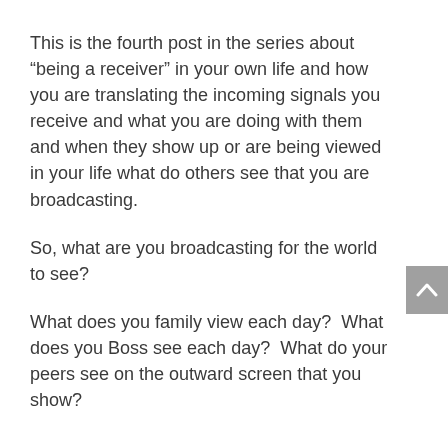This is the fourth post in the series about “being a receiver” in your own life and how you are translating the incoming signals you receive and what you are doing with them and when they show up or are being viewed in your life what do others see that you are broadcasting.
So, what are you broadcasting for the world to see?
What does you family view each day?  What does you Boss see each day?  What do your peers see on the outward screen that you show?